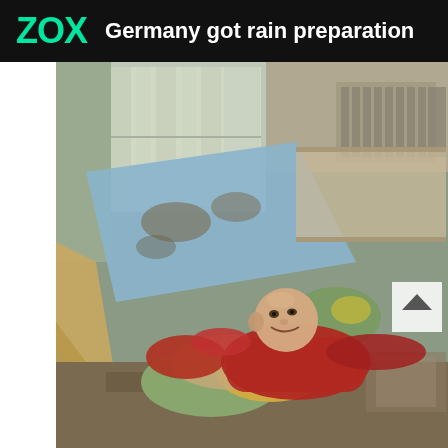ZOX  Germany got rain preparation
[Figure (photo): A man in a red sweater lies amid muddy, disheveled belongings including stained mattresses, colorful cushions and bags inside a flood-damaged room with dirty walls and a window letting in light. A scroll-up button overlay appears in the upper right of the photo.]